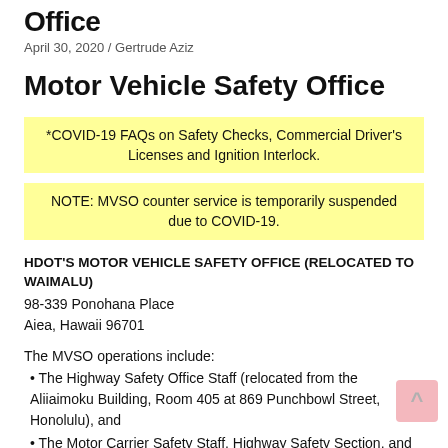Office
April 30, 2020 / Gertrude Aziz
Motor Vehicle Safety Office
*COVID-19 FAQs on Safety Checks, Commercial Driver's Licenses and Ignition Interlock.
NOTE: MVSO counter service is temporarily suspended due to COVID-19.
HDOT'S MOTOR VEHICLE SAFETY OFFICE (RELOCATED TO WAIMALU)
98-339 Ponohana Place
Aiea, Hawaii 96701
The MVSO operations include:
• The Highway Safety Office Staff (relocated from the Aliiaimoku Building, Room 405 at 869 Punchbowl Street, Honolulu), and
• The Motor Carrier Safety Staff, Highway Safety Section, and Clerical Servicing Staff (relocated from the